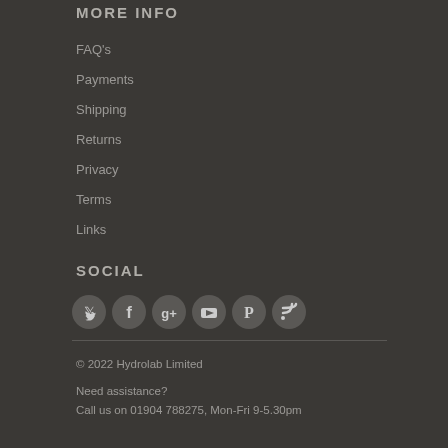MORE INFO
FAQ's
Payments
Shipping
Returns
Privacy
Terms
Links
SOCIAL
[Figure (illustration): Six circular social media icons: Twitter, Facebook, Google+, YouTube, Pinterest, RSS]
© 2022 Hydrolab Limited
Need assistance?
Call us on 01904 788275, Mon-Fri 9-5.30pm